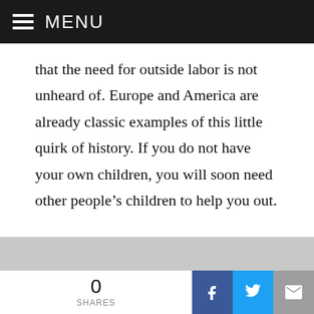MENU
that the need for outside labor is not unheard of. Europe and America are already classic examples of this little quirk of history. If you do not have your own children, you will soon need other people’s children to help you out.
Perhaps I should mention tunnels. The history of railroads is also a history of tunnel construction. Going over the Alps or the Sierras is a matter of going through tunnels. I recall a small tunnel even outside the Baltimore train station on the way to Washington. When they built the tunnel under the English Channel from Britain to France
0 SHARES